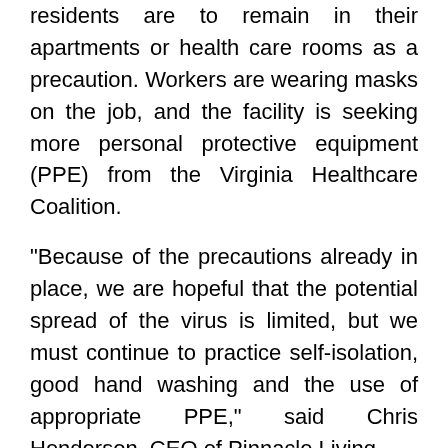residents are to remain in their apartments or health care rooms as a precaution. Workers are wearing masks on the job, and the facility is seeking more personal protective equipment (PPE) from the Virginia Healthcare Coalition.
"Because of the precautions already in place, we are hopeful that the potential spread of the virus is limited, but we must continue to practice self-isolation, good hand washing and the use of appropriate PPE," said Chris Henderson, CEO of Pinnacle Living.
Hermitage Northern Virginia previously restricted visitors with exceptions for individuals essential for a resident's care. Approved guests must answer screening questions and may be required to wear personal protective equipment. Workers are screened before their shifts and are asked to practice physical